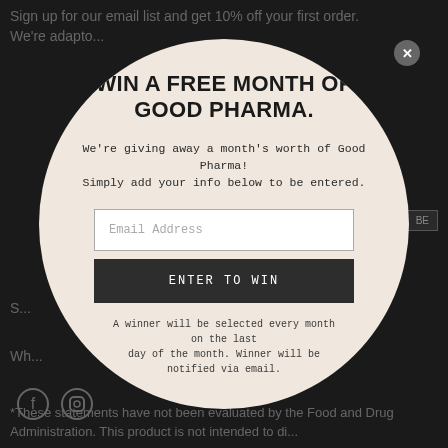Sign up for our email list and get 10% off your first order. We're adapto...
WIN A FREE MONTH OF GOOD PHARMA.
We're giving away a month's worth of Good Pharma! Simply add your info below to be entered.
Email Address
ENTER TO WIN
A winner will be selected every month on the last day of the month. Winner will be notified via email.
S...
Wh...
*These statements have not been evaluated by the Food and Drug Administration. This product is not intended to di...